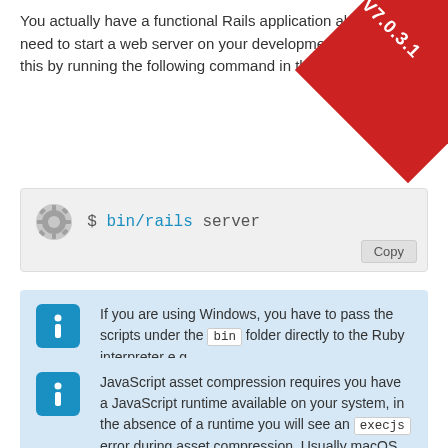You actually have a functional Rails application already. To see it, you need to start a web server on your development machine. You can do this by running the following command in the blog directory:
[Figure (screenshot): Command box showing: $ bin/rails server with a gear icon and a Copy button]
If you are using Windows, you have to pass the scripts under the bin folder directly to the Ruby interpreter e.g. ruby bin\rails server.
JavaScript asset compression requires you have a JavaScript runtime available on your system, in the absence of a runtime you will see an execjs error during asset compression. Usually macOS and Windows come with a JavaScript runtime installed. therubyrhino is the recommended runtime for JRuby